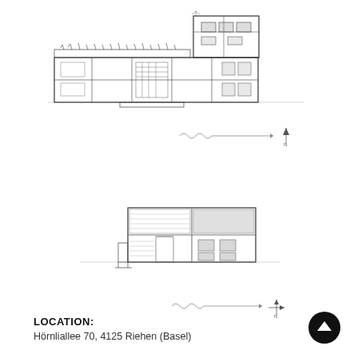[Figure (engineering-diagram): Architectural cross-section drawing of a multi-story building showing interior layout, roof structure with vegetation, and stepped massing. Detailed line drawing with rooms, stairs, and structural elements visible.]
[Figure (engineering-diagram): Small scale bar indicator with wavy line and arrow pointing right, with a north arrow symbol at the right end. Used as a scale/orientation reference for the upper floor plan cross-section.]
[Figure (engineering-diagram): Architectural elevation/section drawing of a smaller two-story building structure showing facade grid pattern, windows, and entry. Line drawing with hatching indicating materials.]
[Figure (engineering-diagram): Small scale bar indicator with wavy line and arrow, with a north/orientation cross symbol at the right end. Used as a scale/orientation reference for the lower section drawing.]
LOCATION:
Hörnliallee 70, 4125 Riehen (Basel)